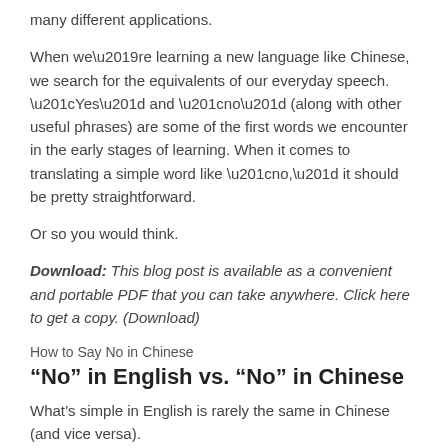many different applications.
When we’re learning a new language like Chinese, we search for the equivalents of our everyday speech. “Yes” and “no” (along with other useful phrases) are some of the first words we encounter in the early stages of learning. When it comes to translating a simple word like “no,” it should be pretty straightforward.
Or so you would think.
Download: This blog post is available as a convenient and portable PDF that you can take anywhere. Click here to get a copy. (Download)
How to Say No in Chinese
“No” in English vs. “No” in Chinese
What’s simple in English is rarely the same in Chinese (and vice versa).